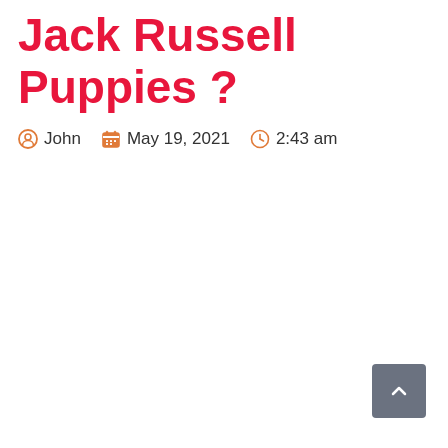Jack Russell Puppies ?
John  May 19, 2021  2:43 am